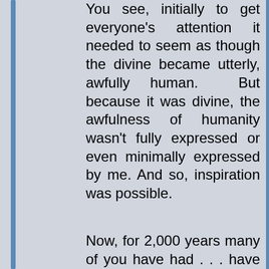You see, initially to get everyone's attention it needed to seem as though the divine became utterly, awfully human. But because it was divine, the awfulness of humanity wasn't fully expressed or even minimally expressed by me. And so, inspiration was possible.
Now, for 2,000 years many of you have had . . . have given attention, still believing that you're a body and that I was a body and that it was important for me to have been a body—for God to have become man.
No. It's time to shift: rather than everyone believing that God